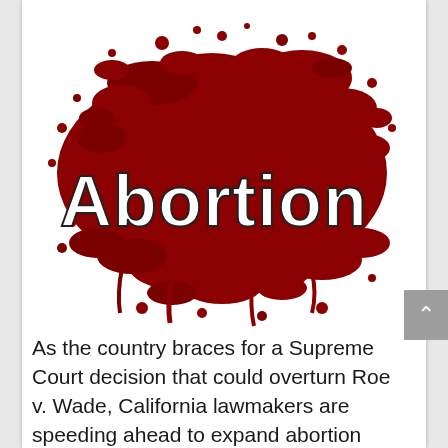[Figure (illustration): Blood splatter graphic with the word 'Abortion' written in large white outlined letters over a dark red blood splash background.]
As the country braces for a Supreme Court decision that could overturn Roe v. Wade, California lawmakers are speeding ahead to expand abortion care and